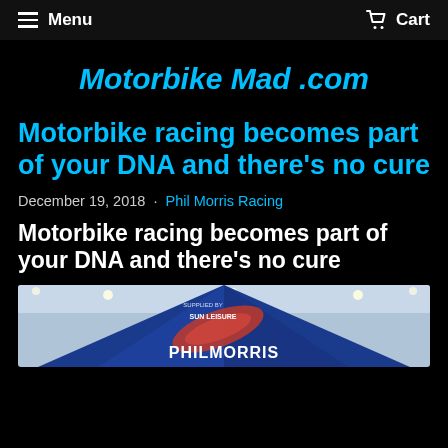Menu   Cart
Motorbike Mad .com
Motorbike racing becomes part of your DNA and there's no cure
December 19, 2018  ·  Phil Morris Racing
Motorbike racing becomes part of your DNA and there's no cure
[Figure (photo): A blue branded tent/gazebo with Phil Morris Racing and Sun Leisure logos visible, photographed indoors with ceiling lights visible.]